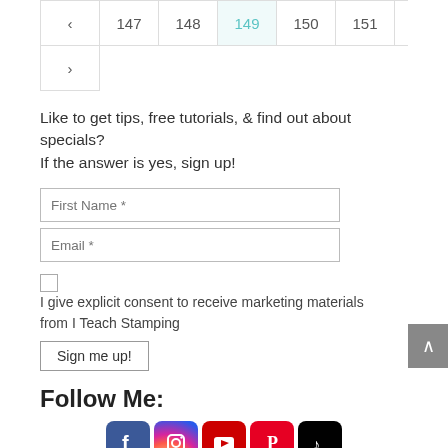[Figure (screenshot): Pagination navigation bar showing page numbers 147, 148, 149 (active/highlighted in teal), 150, 151 with left arrow, and a next row with right arrow]
Like to get tips, free tutorials, & find out about specials?
If the answer is yes, sign up!
[Figure (screenshot): Sign-up form with First Name and Email input fields, a consent checkbox reading 'I give explicit consent to receive marketing materials from I Teach Stamping', and a 'Sign me up!' button]
Follow Me:
[Figure (infographic): Row of social media icons: Facebook (blue), Instagram (gradient), YouTube (red), Pinterest (red), TikTok (black)]